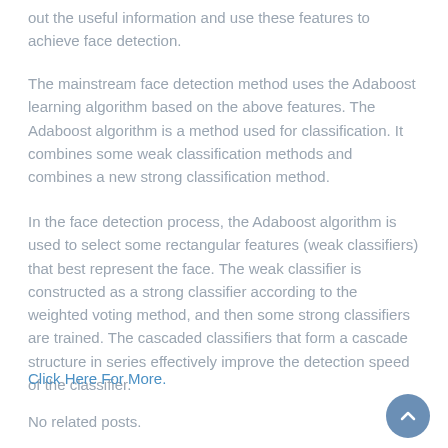out the useful information and use these features to achieve face detection.
The mainstream face detection method uses the Adaboost learning algorithm based on the above features. The Adaboost algorithm is a method used for classification. It combines some weak classification methods and combines a new strong classification method.
In the face detection process, the Adaboost algorithm is used to select some rectangular features (weak classifiers) that best represent the face. The weak classifier is constructed as a strong classifier according to the weighted voting method, and then some strong classifiers are trained. The cascaded classifiers that form a cascade structure in series effectively improve the detection speed of the classifier.
Click Here For More.
No related posts.